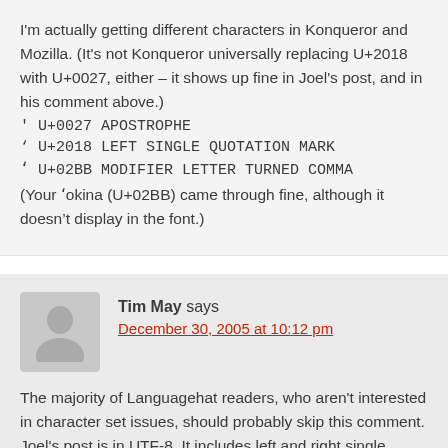I'm actually getting different characters in Konqueror and Mozilla. (It's not Konqueror universally replacing U+2018 with U+0027, either – it shows up fine in Joel's post, and in his comment above.)
' U+0027 APOSTROPHE
‘ U+2018 LEFT SINGLE QUOTATION MARK
ʻ U+02BB MODIFIER LETTER TURNED COMMA
(Your ʻokina (U+02BB) came through fine, although it doesn’t display in the font.)
Tim May says
December 30, 2005 at 10:12 pm
The majority of Languagehat readers, who aren't interested in character set issues, should probably skip this comment.
Joel's post is in UTF-8. It includes left and right single